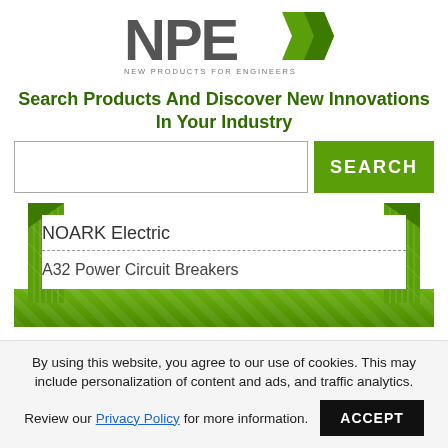[Figure (logo): NPE (New Products for Engineers) logo with green arrow graphic and tagline 'NEW PRODUCTS FOR ENGINEERS']
Search Products And Discover New Innovations In Your Industry
NOARK Electric
A32 Power Circuit Breakers
By using this website, you agree to our use of cookies. This may include personalization of content and ads, and traffic analytics.
Review our Privacy Policy for more information.